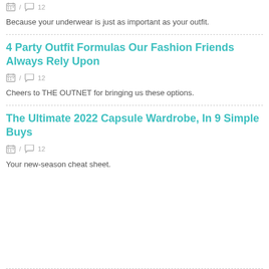calendar icon / comment 12
Because your underwear is just as important as your outfit.
4 Party Outfit Formulas Our Fashion Friends Always Rely Upon
calendar icon / comment 12
Cheers to THE OUTNET for bringing us these options.
The Ultimate 2022 Capsule Wardrobe, In 9 Simple Buys
calendar icon / comment 12
Your new-season cheat sheet.